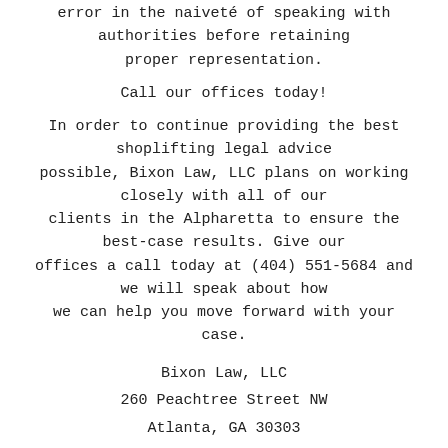error in the naiveté of speaking with authorities before retaining proper representation.
Call our offices today!
In order to continue providing the best shoplifting legal advice possible, Bixon Law, LLC plans on working closely with all of our clients in the Alpharetta to ensure the best-case results. Give our offices a call today at (404) 551-5684 and we will speak about how we can help you move forward with your case.
Bixon Law, LLC
260 Peachtree Street NW
Atlanta, GA 30303
(404) 551-5684
Tweet
Related Articles: Child Pornography Lawyer Fulton County GA, Criminal Lawyer Gwinnett County GA,